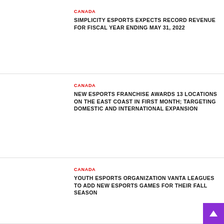CANADA
SIMPLICITY ESPORTS EXPECTS RECORD REVENUE FOR FISCAL YEAR ENDING MAY 31, 2022
CANADA
NEW ESPORTS FRANCHISE AWARDS 13 LOCATIONS ON THE EAST COAST IN FIRST MONTH; TARGETING DOMESTIC AND INTERNATIONAL EXPANSION
CANADA
YOUTH ESPORTS ORGANIZATION VANTA LEAGUES TO ADD NEW ESPORTS GAMES FOR THEIR FALL SEASON